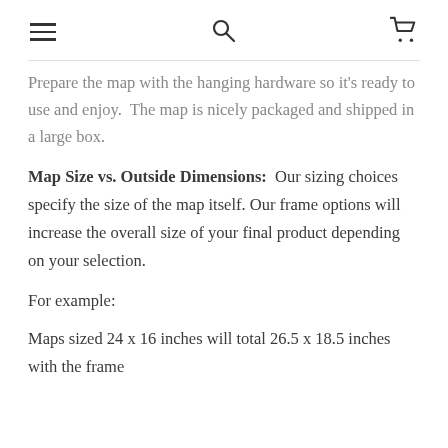[menu icon] [search icon] [cart icon]
Prepare the map with the hanging hardware so it's ready to use and enjoy.  The map is nicely packaged and shipped in a large box.
Map Size vs. Outside Dimensions:  Our sizing choices specify the size of the map itself. Our frame options will increase the overall size of your final product depending on your selection.
For example:
Maps sized 24 x 16 inches will total 26.5 x 18.5 inches with the frame